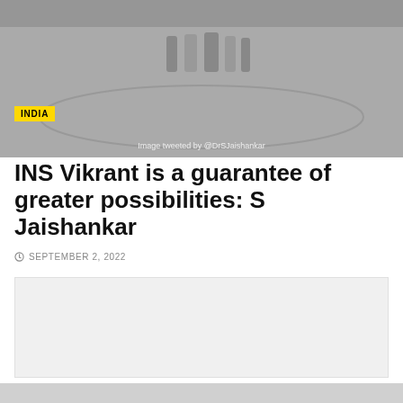[Figure (photo): Grayscale photo of people on a surface with circular markings, with an INDIA badge overlay and image credit 'Image tweeted by @DrSJaishankar']
INS Vikrant is a guarantee of greater possibilities: S Jaishankar
SEPTEMBER 2, 2022
[Figure (photo): Light gray placeholder image block below the article header]